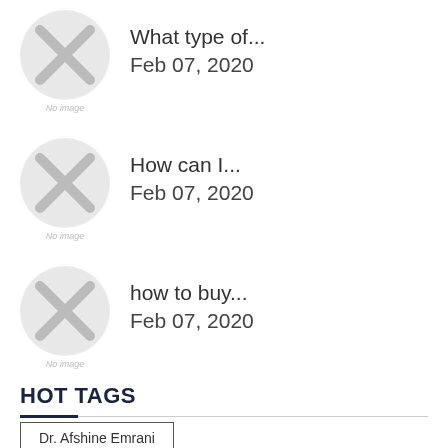What type of...
Feb 07, 2020
How can I...
Feb 07, 2020
how to buy...
Feb 07, 2020
HOT TAGS
Dr. Afshine Emrani